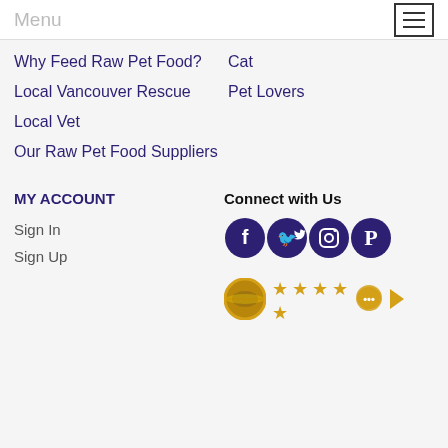Menu
Why Feed Raw Pet Food?
Local Vancouver Rescue
Local Vet
Our Raw Pet Food Suppliers
Cat
Pet Lovers
MY ACCOUNT
Sign In
Sign Up
Connect with Us
[Figure (illustration): Four circular social media icons (Facebook, Twitter, Instagram, Pinterest) in dark purple/indigo with white icons]
[Figure (illustration): Review widget: circular avatar thumbnail, 5 gold stars arranged in two rows, chat bubble icon, right arrow icon]